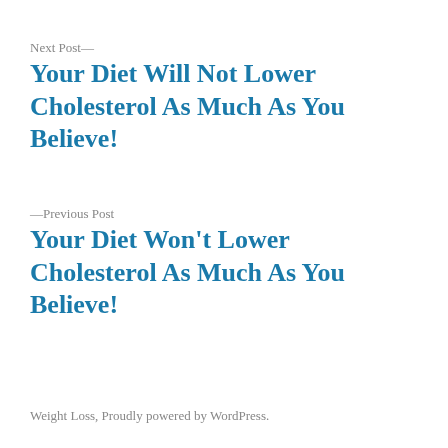Next Post—
Your Diet Will Not Lower Cholesterol As Much As You Believe!
—Previous Post
Your Diet Won't Lower Cholesterol As Much As You Believe!
Weight Loss, Proudly powered by WordPress.